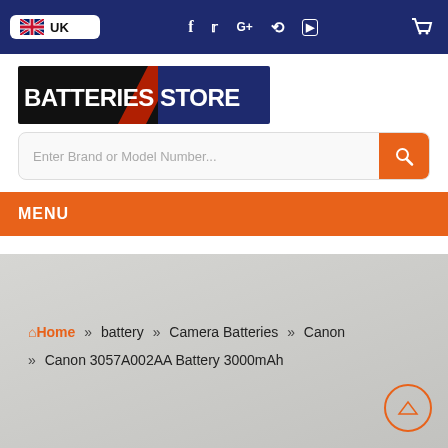UK — social icons — cart
[Figure (logo): BatteriesStore logo — black left half with white bold text BATTERIES, orange right half with white bold text STORE, diagonal red lightning bolt stripe]
Enter Brand or Model Number...
MENU
Home » battery » Camera Batteries » Canon » Canon 3057A002AA Battery 3000mAh